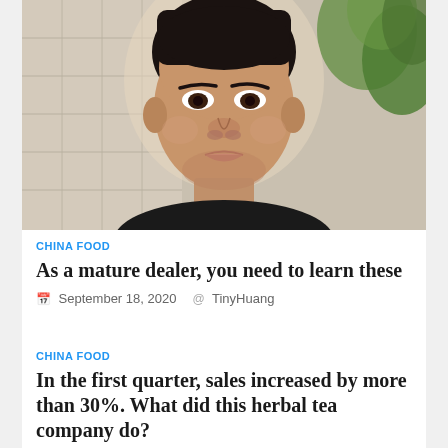[Figure (photo): Close-up selfie photo of an Asian man outdoors with marble/stone building wall and green plants in background]
CHINA FOOD
As a mature dealer, you need to learn these
September 18, 2020   TinyHuang
CHINA FOOD
In the first quarter, sales increased by more than 30%. What did this herbal tea company do?